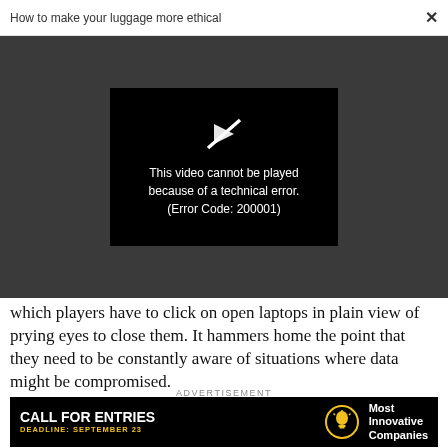How to make your luggage more ethical  ×
[Figure (screenshot): Video player error screen on dark gray background. Black rectangle with a broken/slashed play button icon in white, followed by error text: 'This video cannot be played because of a technical error. (Error Code: 200001)']
which players have to click on open laptops in plain view of prying eyes to close them. It hammers home the point that they need to be constantly aware of situations where data might be compromised.
ADVERTISEMENT
[Figure (infographic): Black advertisement banner: 'CALL FOR ENTRIES' in bold white, 'DEADLINE: SEPTEMBER 23' in yellow text, light bulb icon, 'Most Innovative Companies' in white text on right.]